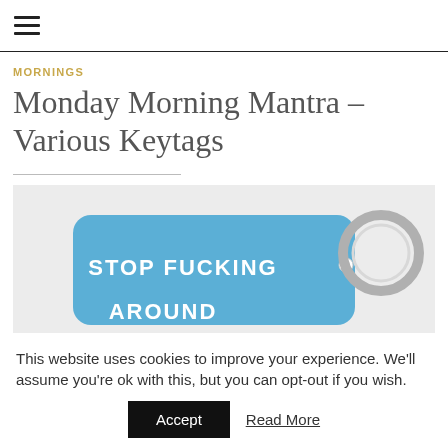≡
MORNINGS
Monday Morning Mantra – Various Keytags
[Figure (photo): A blue rectangular keytag with white bold text reading 'STOP FUCKING AROUND' with a metal key ring attached on the right side.]
This website uses cookies to improve your experience. We'll assume you're ok with this, but you can opt-out if you wish.
Accept  Read More